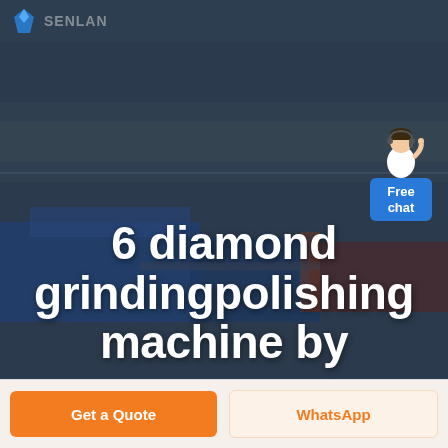SENLAN (logo/brand header)
[Figure (photo): Aerial view of a large industrial factory/warehouse complex with blue rooftops and open fields in the background, overlaid with a dark blue tint. A customer service representative figure is shown in the upper right corner.]
6 diamond grindingpolishing machine by
[Figure (illustration): Customer service chat widget showing a cartoon/illustrated representative figure with a Free chat button in blue]
Get a Quote
WhatsApp